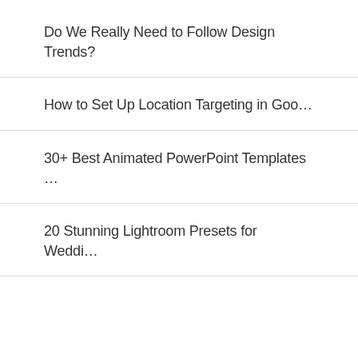Do We Really Need to Follow Design Trends?
How to Set Up Location Targeting in Goo…
30+ Best Animated PowerPoint Templates …
20 Stunning Lightroom Presets for Weddi…